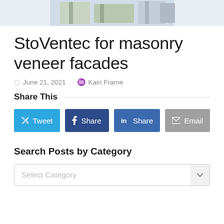[Figure (photo): Partial view of a building facade photo cropped at top of page]
StoVentec for masonry veneer facades
June 21, 2021   Kairi Frame
Share This
Tweet  Share  Share  Email
Search Posts by Category
Select Category